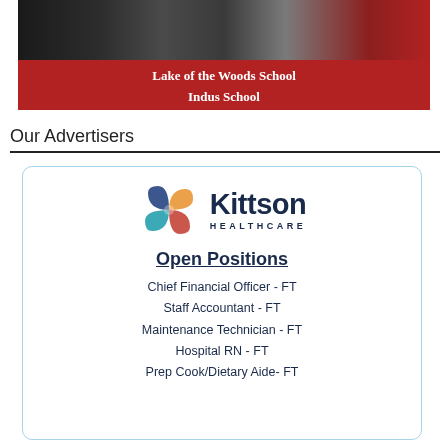[Figure (photo): Top banner with image of yarn/textile in dark tones with red strip below containing school names]
Lake of the Woods School
Indus School
Our Advertisers
[Figure (logo): Kittson Healthcare logo with colorful cross/heart icon]
Open Positions
Chief Financial Officer - FT
Staff Accountant - FT
Maintenance Technician - FT
Hospital RN - FT
Prep Cook/Dietary Aide- FT